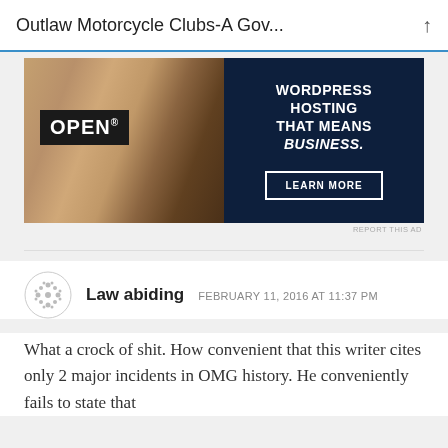Outlaw Motorcycle Clubs-A Gov...
[Figure (photo): Advertisement showing a person holding an OPEN sign on the left, and a dark navy panel on the right with text: WORDPRESS HOSTING THAT MEANS BUSINESS. with a LEARN MORE button]
REPORT THIS AD
Law abiding   FEBRUARY 11, 2016 AT 11:37 PM
What a crock of shit. How convenient that this writer cites only 2 major incidents in OMG history. He conveniently fails to state that